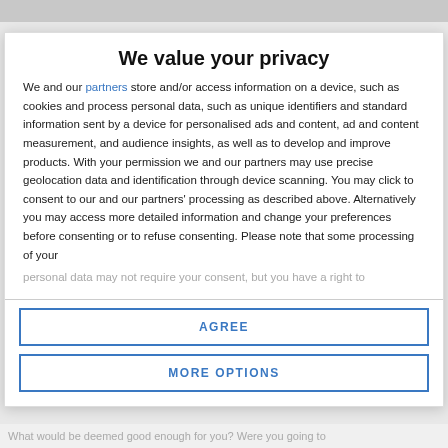We value your privacy
We and our partners store and/or access information on a device, such as cookies and process personal data, such as unique identifiers and standard information sent by a device for personalised ads and content, ad and content measurement, and audience insights, as well as to develop and improve products. With your permission we and our partners may use precise geolocation data and identification through device scanning. You may click to consent to our and our partners' processing as described above. Alternatively you may access more detailed information and change your preferences before consenting or to refuse consenting. Please note that some processing of your personal data may not require your consent, but you have a right to
AGREE
MORE OPTIONS
What would be deemed good enough for you? Were you going to